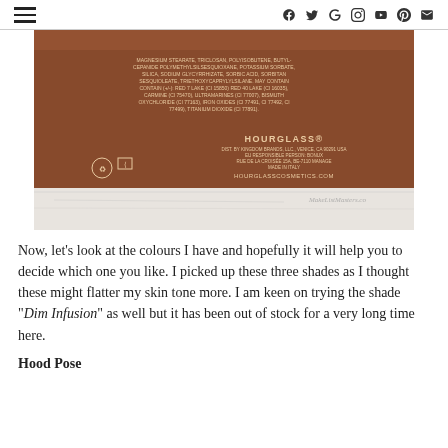Navigation menu and social icons: Facebook, Twitter, Google+, Instagram, YouTube, Pinterest, Email
[Figure (photo): Back of a dark brown Hourglass cosmetics box showing ingredients list and brand information including 'HOURGLASS' branding and 'HOURGLASSCOSMETICS.COM' website, placed on a white marble surface.]
Now, let's look at the colours I have and hopefully it will help you to decide which one you like. I picked up these three shades as I thought these might flatter my skin tone more. I am keen on trying the shade "Dim Infusion" as well but it has been out of stock for a very long time here.
Hood Pose